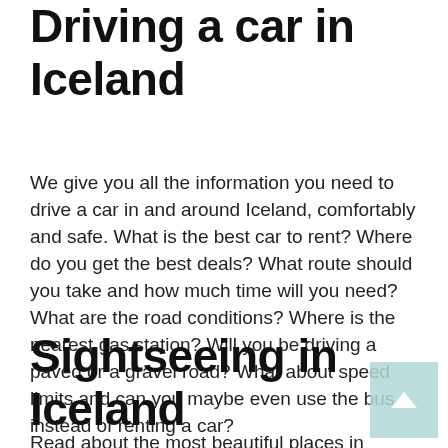Driving a car in Iceland
We give you all the information you need to drive a car in and around Iceland, comfortably and safe. What is the best car to rent? Where do you get the best deals? What route should you take and how much time will you need? What are the road conditions? Where is the nearest gas station? Will you be driving a paved or a gravel road? What about speed limits and can you maybe even use the bus instead of renting a car?
Sightseeing in Iceland
Read about the most beautiful places in Iceland, which